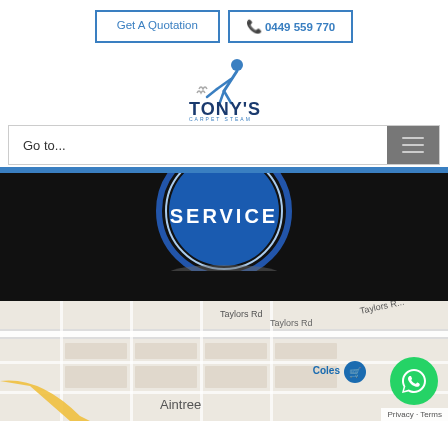[Figure (other): Two buttons: 'Get A Quotation' and phone icon with '0449 559 770', both with blue border outline style]
[Figure (logo): Tony's Carpet Steam cleaning logo — person using steam cleaner, company name in blue text]
Go to...
[Figure (other): Blue circular badge showing 'SERVICE' text, partially visible at top, on dark/black background]
[Figure (map): Google Maps partial screenshot showing Aintree suburb with Taylors Rd, Coles store pin, and WhatsApp chat button overlay. Privacy - Terms text visible.]